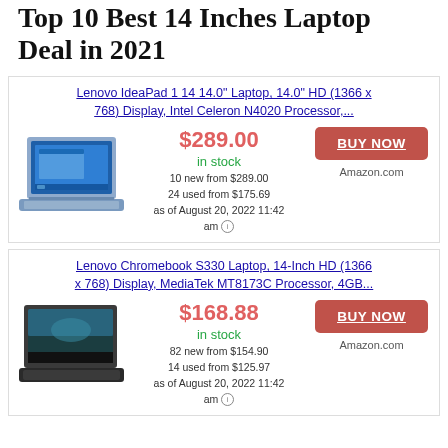Top 10 Best 14 Inches Laptop Deal in 2021
Lenovo IdeaPad 1 14 14.0" Laptop, 14.0" HD (1366 x 768) Display, Intel Celeron N4020 Processor,...
[Figure (photo): Photo of Lenovo IdeaPad 1 14 laptop in blue]
$289.00
in stock
10 new from $289.00
24 used from $175.69
as of August 20, 2022 11:42 am
BUY NOW
Amazon.com
Lenovo Chromebook S330 Laptop, 14-Inch HD (1366 x 768) Display, MediaTek MT8173C Processor, 4GB...
[Figure (photo): Photo of Lenovo Chromebook S330 laptop in dark color]
$168.88
in stock
82 new from $154.90
14 used from $125.97
as of August 20, 2022 11:42 am
BUY NOW
Amazon.com